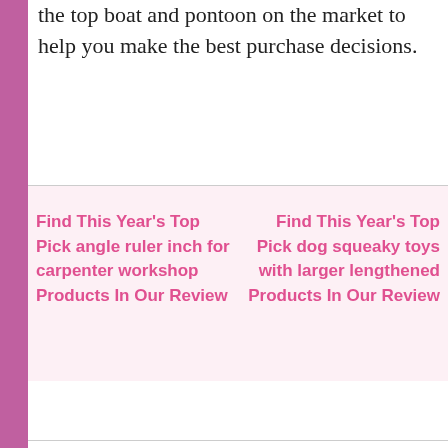the top boat and pontoon on the market to help you make the best purchase decisions.
Find This Year's Top Pick angle ruler inch for carpenter workshop Products In Our Review
Find This Year's Top Pick dog squeaky toys with larger lengthened Products In Our Review